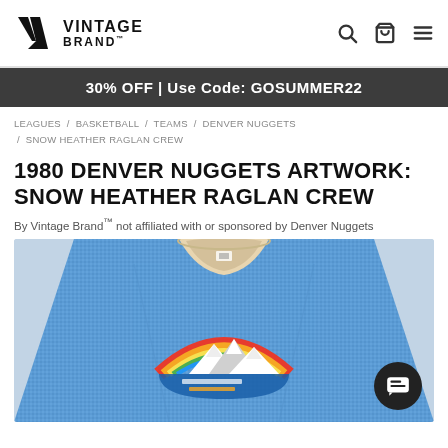Vintage Brand — navigation header with logo, search, cart, and menu icons
30% OFF | Use Code: GOSUMMER22
LEAGUES / BASKETBALL / TEAMS / DENVER NUGGETS / SNOW HEATHER RAGLAN CREW
1980 DENVER NUGGETS ARTWORK: SNOW HEATHER RAGLAN CREW
By Vintage Brand™ not affiliated with or sponsored by Denver Nuggets
[Figure (photo): Blue snow heather raglan crew sweatshirt with 1980 Denver Nuggets artwork showing a rainbow mountain logo on the chest. A chat button overlay appears in the bottom-right corner.]